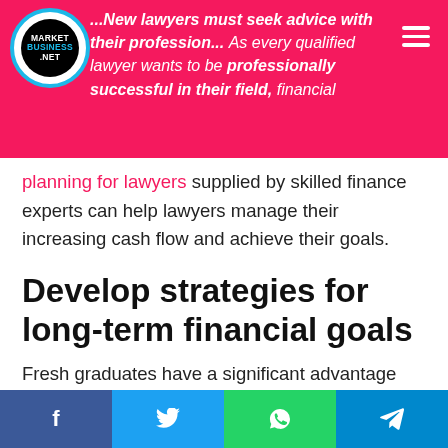marketbusiness.net — New lawyers must seek advice with their profession... As every qualified lawyer wants to be professionally successful in their field, financial planning for lawyers supplied by skilled finance experts can help lawyers manage their increasing cash flow and achieve their goals.
Develop strategies for long-term financial goals
Fresh graduates have a significant advantage over senior peers when developing a financial strategy. The longer the investing period, the better the odds of earning long-term returns in the portfolio. The most difficult obstacle can be making financial ambitions a fact!
f  (Twitter)  (WhatsApp)  (Telegram)